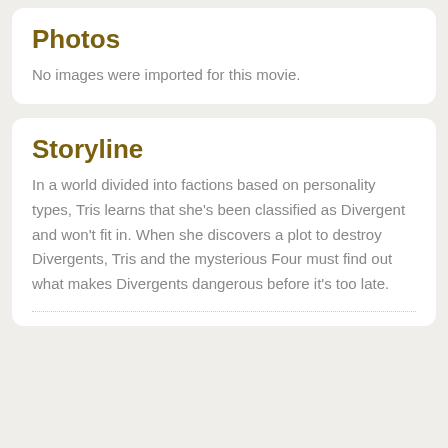Photos
No images were imported for this movie.
Storyline
In a world divided into factions based on personality types, Tris learns that she's been classified as Divergent and won't fit in. When she discovers a plot to destroy Divergents, Tris and the mysterious Four must find out what makes Divergents dangerous before it's too late.